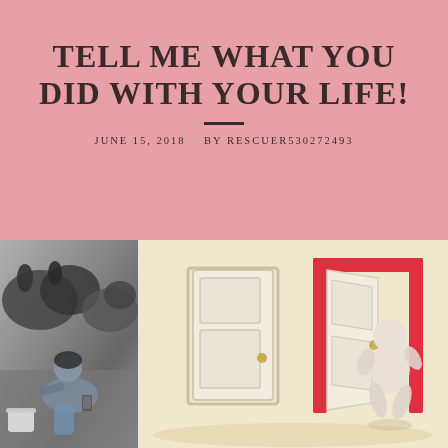TELL ME WHAT YOU DID WITH YOUR LIFE!
JUNE 15, 2018    BY RESCUER530272493
[Figure (photo): Grayscale photo of a person crouching near animals (possibly dogs or cats) on the floor with a white bucket nearby]
[Figure (illustration): 3D illustration on cream background showing two doors: a white door on the left and a red open door on the right with a white 3D figure character walking through it]